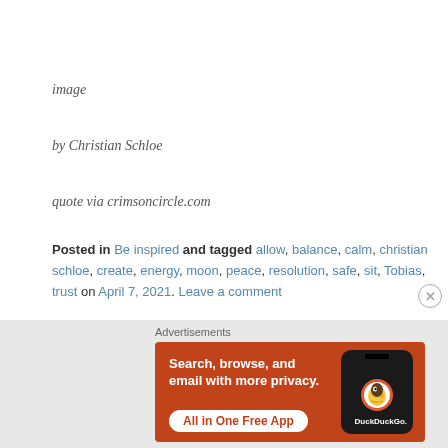image
by Christian Schloe
quote via crimsoncircle.com
Posted in Be inspired and tagged allow, balance, calm, christian schloe, create, energy, moon, peace, resolution, safe, sit, Tobias, trust on April 7, 2021. Leave a comment
[Figure (screenshot): DuckDuckGo advertisement banner showing orange background with text 'Search, browse, and email with more privacy. All in One Free App' and a phone graphic with DuckDuckGo logo]